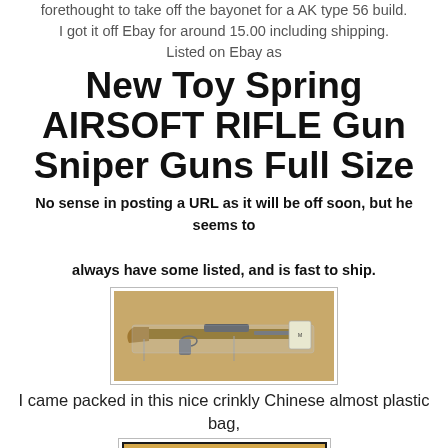forethought to take off the bayonet for a AK type 56 build. I got it off Ebay for around 15.00 including shipping. Listed on Ebay as
New Toy Spring AIRSOFT RIFLE Gun Sniper Guns Full Size
No sense in posting a URL as it will be off soon, but he seems to always have some listed, and is fast to ship.
[Figure (photo): Airsoft rifle toy in clear crinkly plastic packaging, lying on a beige/tan surface. The rifle has a wooden stock appearance.]
I came packed in this nice crinkly Chinese almost plastic bag,
[Figure (photo): Partial view of a box showing M-4956 airsoft rifle product packaging with a rifle image on the front.]